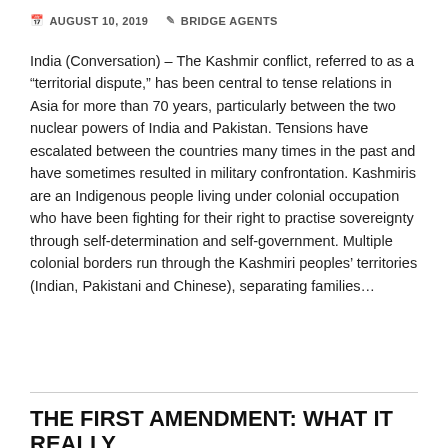AUGUST 10, 2019   BRIDGE AGENTS
India (Conversation) – The Kashmir conflict, referred to as a “territorial dispute,” has been central to tense relations in Asia for more than 70 years, particularly between the two nuclear powers of India and Pakistan. Tensions have escalated between the countries many times in the past and have sometimes resulted in military confrontation. Kashmiris are an Indigenous people living under colonial occupation who have been fighting for their right to practise sovereignty through self-determination and self-government. Multiple colonial borders run through the Kashmiri peoples’ territories (Indian, Pakistani and Chinese), separating families…
READ MORE
THE FIRST AMENDMENT: WHAT IT REALLY MEANS FOR FREE SPEECH AND WHY DONALD TRUMP IS TRAMPLING ON IT